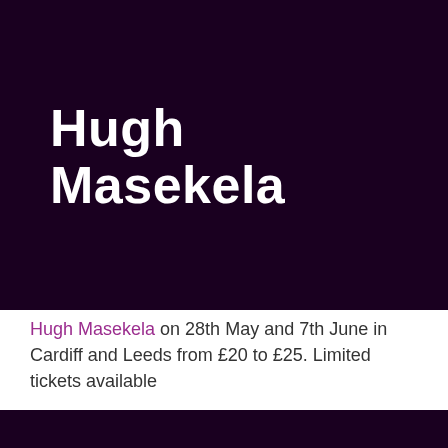Hugh Masekela
Hugh Masekela on 28th May and 7th June in Cardiff and Leeds from £20 to £25. Limited tickets available